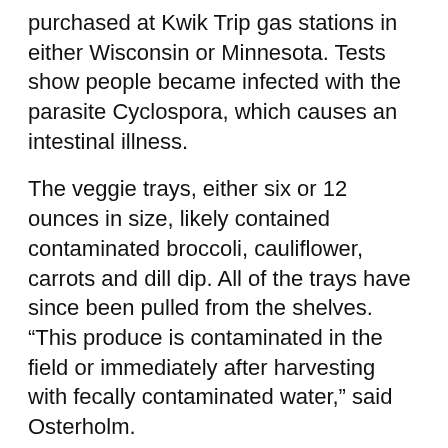purchased at Kwik Trip gas stations in either Wisconsin or Minnesota. Tests show people became infected with the parasite Cyclospora, which causes an intestinal illness.
The veggie trays, either six or 12 ounces in size, likely contained contaminated broccoli, cauliflower, carrots and dill dip. All of the trays have since been pulled from the shelves.
“This produce is contaminated in the field or immediately after harvesting with fecally contaminated water,” said Osterholm.
[Figure (infographic): Yellow banner ad with black 'WATCH LIVE' badge, bold title 'Live look at the Minnesota State Fair!', subtext about FOX 9 live camera near Giant Slide, and black close button with yellow X in top right corner.]